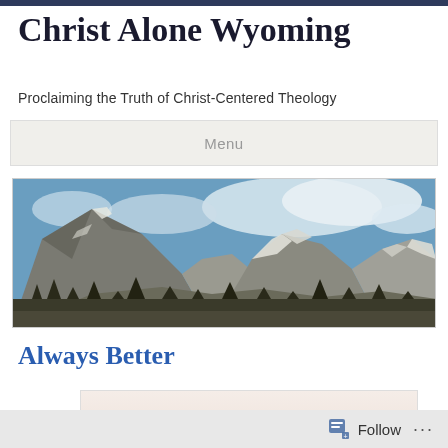Christ Alone Wyoming
Proclaiming the Truth of Christ-Centered Theology
Menu
[Figure (photo): Panoramic mountain landscape with snow-capped peaks, rocky slopes, evergreen trees in the foreground, and a partly cloudy blue sky. Wyoming mountain scenery.]
Always Better
[Figure (other): Partial view of a discussion-themed image with pink/rose gradient background and the word DISCUSSION in faded text]
Follow ...